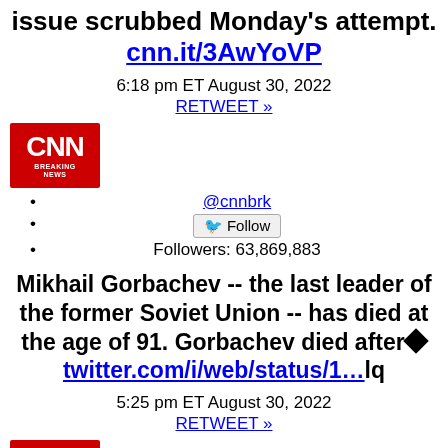issue scrubbed Monday's attempt.
cnn.it/3AwYoVP
6:18 pm ET August 30, 2022
RETWEET »
[Figure (logo): CNN Breaking News logo in red box]
@cnnbrk
Follow button
Followers: 63,869,883
Mikhail Gorbachev -- the last leader of the former Soviet Union -- has died at the age of 91. Gorbachev died after◆twitter.com/i/web/status/1…lq
5:25 pm ET August 30, 2022
RETWEET »
[Figure (logo): CNN Breaking News logo in red box (partial, cut off at bottom)]